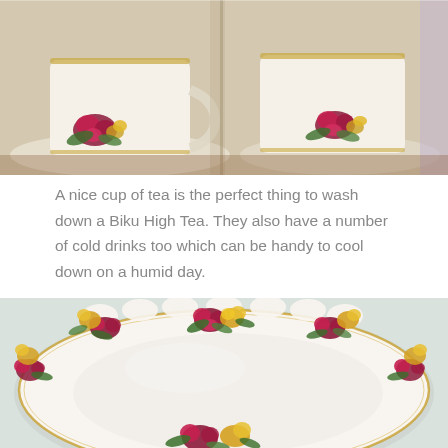[Figure (photo): Floral patterned china teacup and saucer with pink/red roses and yellow flowers, viewed from above on a wooden table]
A nice cup of tea is the perfect thing to wash down a Biku High Tea. They also have a number of cold drinks too which can be handy to cool down on a humid day.
[Figure (photo): Close-up of a white china plate decorated with red/pink and yellow roses around the scalloped gold-trimmed border, sitting on a light cloth surface]